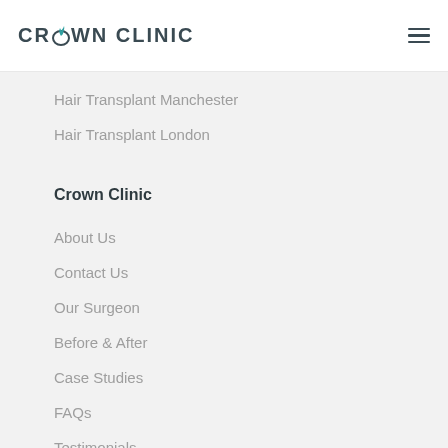[Figure (logo): Crown Clinic logo with stylized flame/crown icon above the letter O]
Hair Transplant Manchester
Hair Transplant London
Crown Clinic
About Us
Contact Us
Our Surgeon
Before & After
Case Studies
FAQs
Testimonials
Manchester Clinic
Ground Floor, Global House